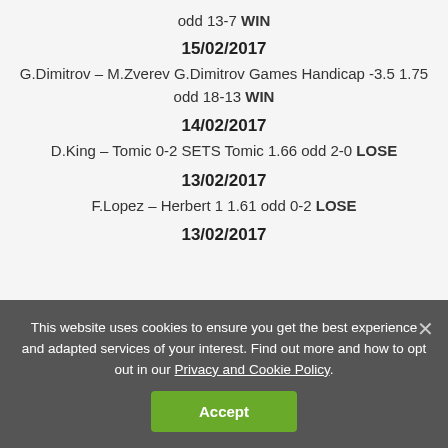odd 13-7 WIN
15/02/2017
G.Dimitrov – M.Zverev G.Dimitrov Games Handicap -3.5 1.75 odd 18-13 WIN
14/02/2017
D.King – Tomic 0-2 SETS Tomic 1.66 odd 2-0 LOSE
13/02/2017
F.Lopez – Herbert 1 1.61 odd 0-2 LOSE
13/02/2017
This website uses cookies to ensure you get the best experience and adapted services of your interest. Find out more and how to opt out in our Privacy and Cookie Policy.